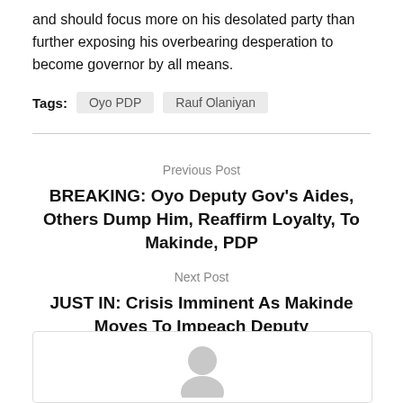and should focus more on his desolated party than further exposing his overbearing desperation to become governor by all means.
Tags: Oyo PDP   Rauf Olaniyan
Previous Post
BREAKING: Oyo Deputy Gov's Aides, Others Dump Him, Reaffirm Loyalty, To Makinde, PDP
Next Post
JUST IN: Crisis Imminent As Makinde Moves To Impeach Deputy
[Figure (illustration): User avatar placeholder icon showing a grey silhouette head/shoulders shape inside a bordered box]